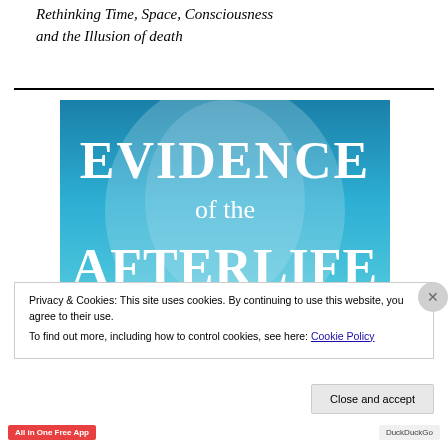Rethinking Time, Space, Consciousness and the Illusion of death
[Figure (illustration): Book cover for 'Evidence of the Afterlife' with blue gradient background and large white text reading EVIDENCE of the AFTERLIFE]
Privacy & Cookies: This site uses cookies. By continuing to use this website, you agree to their use.
To find out more, including how to control cookies, see here: Cookie Policy
Close and accept